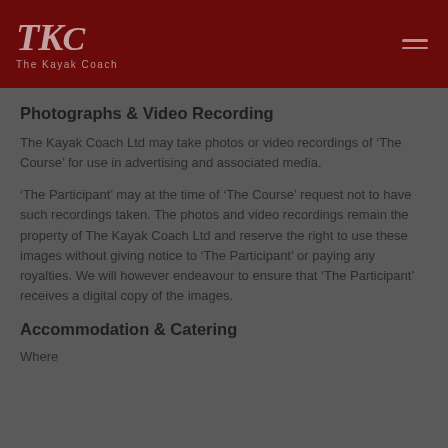TKC The Kayak Coach
Photographs & Video Recording
The Kayak Coach Ltd may take photos or video recordings of ‘The Course’ for use in advertising and associated media.
‘The Participant’ may at the time of ‘The Course’ request not to have such recordings taken. The photos and video recordings remain the property of The Kayak Coach Ltd and reserve the right to use these images without giving notice to ‘The Participant’ or paying any royalties. We will however endeavour to ensure that ‘The Participant’ receives a digital copy of the images.
Accommodation & Catering
Where ...